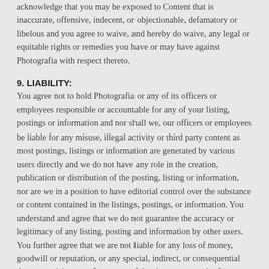acknowledge that you may be exposed to Content that is inaccurate, offensive, indecent, or objectionable, defamatory or libelous and you agree to waive, and hereby do waive, any legal or equitable rights or remedies you have or may have against Photografia with respect thereto.
9. LIABILITY:
You agree not to hold Photografia or any of its officers or employees responsible or accountable for any of your listing, postings or information and nor shall we, our officers or employees be liable for any misuse, illegal activity or third party content as most postings, listings or information are generated by various users directly and we do not have any role in the creation, publication or distribution of the posting, listing or information, nor are we in a position to have editorial control over the substance or content contained in the listings, postings, or information. You understand and agree that we do not guarantee the accuracy or legitimacy of any listing, posting and information by other users. You further agree that we are not liable for any loss of money, goodwill or reputation, or any special, indirect, or consequential damages arising out of your use of the site or as a result of any sale, purchase of goods and services with other